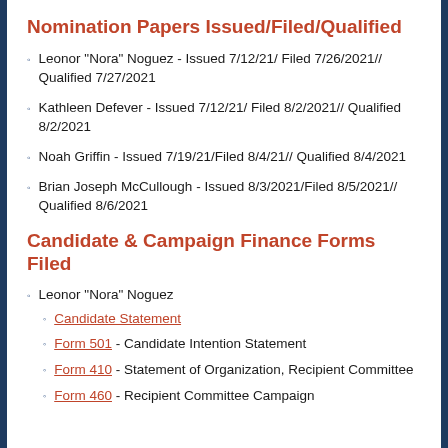Nomination Papers Issued/Filed/Qualified
Leonor "Nora" Noguez - Issued 7/12/21/ Filed 7/26/2021// Qualified 7/27/2021
Kathleen Defever - Issued 7/12/21/ Filed 8/2/2021// Qualified 8/2/2021
Noah Griffin - Issued 7/19/21/Filed 8/4/21// Qualified 8/4/2021
Brian Joseph McCullough - Issued 8/3/2021/Filed 8/5/2021// Qualified 8/6/2021
Candidate & Campaign Finance Forms Filed
Leonor "Nora" Noguez
Candidate Statement
Form 501 - Candidate Intention Statement
Form 410 - Statement of Organization, Recipient Committee
Form 460 - Recipient Committee Campaign